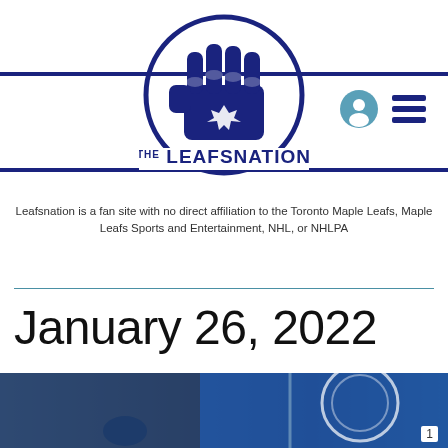[Figure (logo): The Leafs Nation logo: a fist inside a circle with a maple leaf, with THE LEAFSNATION text below]
Leafsnation is a fan site with no direct affiliation to the Toronto Maple Leafs, Maple Leafs Sports and Entertainment, NHL, or NHLPA
January 26, 2022
[Figure (photo): Hockey-related photo with blue tones showing what appears to be an ice rink or hockey equipment]